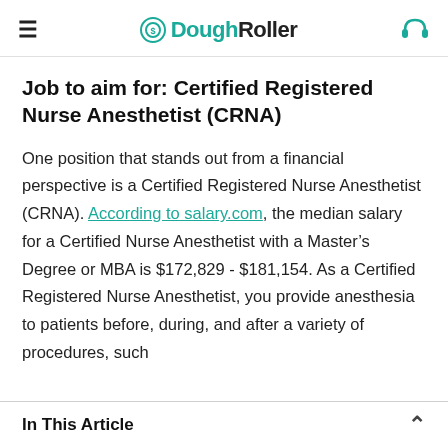DoughRoller
Job to aim for: Certified Registered Nurse Anesthetist (CRNA)
One position that stands out from a financial perspective is a Certified Registered Nurse Anesthetist (CRNA). According to salary.com, the median salary for a Certified Nurse Anesthetist with a Master’s Degree or MBA is $172,829 - $181,154. As a Certified Registered Nurse Anesthetist, you provide anesthesia to patients before, during, and after a variety of procedures, such
In This Article